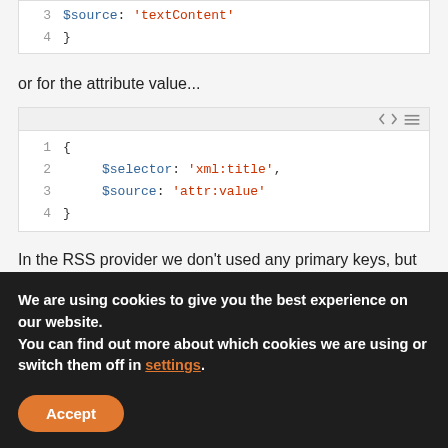[Figure (screenshot): Code snippet showing lines 3-4: $source: 'textContent' and closing brace]
or for the attribute value...
[Figure (screenshot): Code snippet with 4 lines: { $selector: 'xml:title', $source: 'attr:value' }]
In the RSS provider we don't used any primary keys, but the model binder supports this descriptor. If you define this descriptor the data will be referenced based on the primary
We are using cookies to give you the best experience on our website.
You can find out more about which cookies we are using or switch them off in settings.
Accept